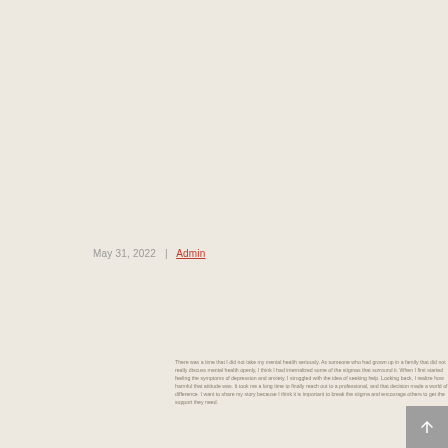May 31, 2022   |   Admin
There was a time that I did not take my mental health seriously. As someone who had grown up in a family that did not really discuss mental health openly, I think I had internalized some of the stigmas that surround it. When I first started feeling the symptoms of depression and anxiety, I struggled with the idea of seeking help. Looking back, I realize how harmful that attitude was. It took me a long time to finally reach out to a professional, and that decision made a world of a difference. I want to share my story because I think it is important to break the stigma and encourage others to get the support they need.